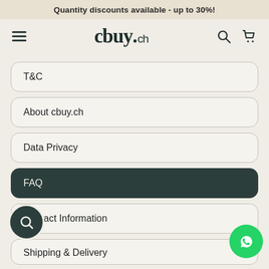Quantity discounts available - up to 30%!
[Figure (logo): cbuy.ch logo with hamburger menu, search icon, and cart icon in navigation bar]
T&C
About cbuy.ch
Data Privacy
FAQ
Contact Information
Shipping & Delivery